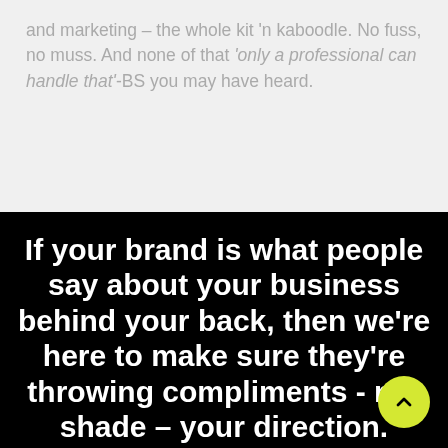and marketing – the whole kit 'n kaboodle. No fuss, no muss. And none of that 'only a professional can handle that'-BS you may have heard.
If your brand is what people say about your business behind your back, then we're here to make sure they're throwing compliments - not shade – your direction.